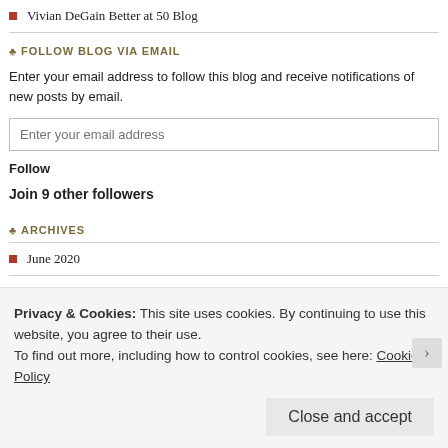Vivian DeGain Better at 50 Blog
FOLLOW BLOG VIA EMAIL
Enter your email address to follow this blog and receive notifications of new posts by email.
Follow
Join 9 other followers
ARCHIVES
June 2020
May 2020
December 2019
Privacy & Cookies: This site uses cookies. By continuing to use this website, you agree to their use. To find out more, including how to control cookies, see here: Cookie Policy
Close and accept